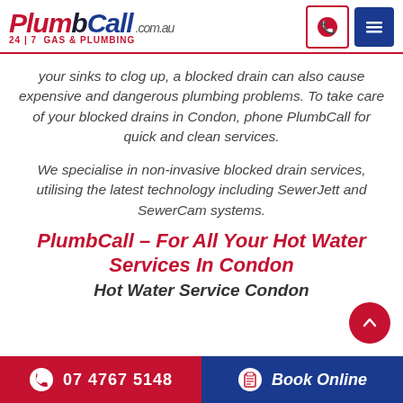[Figure (logo): PlumbCall.com.au logo with plumber figure and text '24|7 GAS & PLUMBING']
your sinks to clog up, a blocked drain can also cause expensive and dangerous plumbing problems. To take care of your blocked drains in Condon, phone PlumbCall for quick and clean services.
We specialise in non-invasive blocked drain services, utilising the latest technology including SewerJett and SewerCam systems.
PlumbCall – For All Your Hot Water Services In Condon
Hot Water Service Condon
07 4767 5148  Book Online